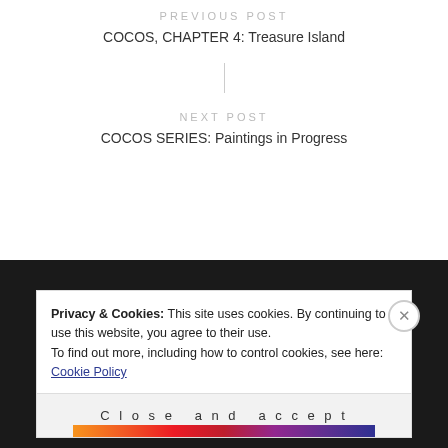PREVIOUS POST
COCOS, CHAPTER 4: Treasure Island
NEXT POST
COCOS SERIES: Paintings in Progress
Privacy & Cookies: This site uses cookies. By continuing to use this website, you agree to their use.
To find out more, including how to control cookies, see here: Cookie Policy
Close and accept